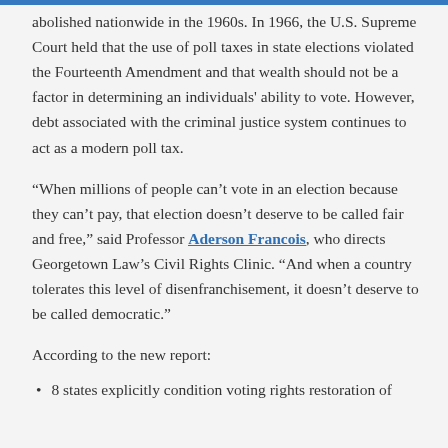abolished nationwide in the 1960s. In 1966, the U.S. Supreme Court held that the use of poll taxes in state elections violated the Fourteenth Amendment and that wealth should not be a factor in determining an individuals' ability to vote. However, debt associated with the criminal justice system continues to act as a modern poll tax.
“When millions of people can’t vote in an election because they can’t pay, that election doesn’t deserve to be called fair and free,” said Professor Aderson Francois, who directs Georgetown Law’s Civil Rights Clinic. “And when a country tolerates this level of disenfranchisement, it doesn’t deserve to be called democratic.”
According to the new report:
8 states explicitly condition voting rights restoration of